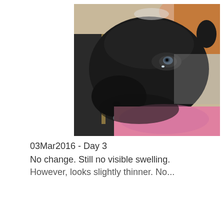[Figure (photo): Close-up photograph of a black lamb or young goat being held by a person wearing a dark jacket with a zipper and a pink garment. The animal has dark fur, a visible eye with moisture/discharge, a small nose ring, and is resting against a pink fluffy surface.]
03Mar2016 - Day 3
No change. Still no visible swelling.
However, looks slightly thinner. No...